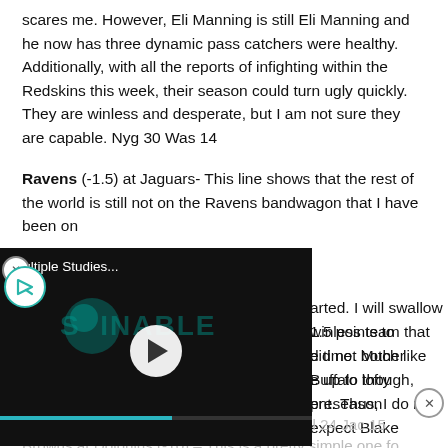scares me. However, Eli Manning is still Eli Manning and he now has three dynamic pass catchers were healthy. Additionally, with all the reports of infighting within the Redskins this week, their season could turn ugly quickly. They are winless and desperate, but I am not sure they are capable. Nyg 30 Was 14
Ravens (-1.5) at Jaguars- This line shows that the rest of the world is still not on the Ravens bandwagon that I have been on [...]arted. I will swallow 1.5 points to [...] winless team that did not bother [...] e time. Much like Buffalo though, [...] e up to lofty preseason [...] ent. Thus, I do not expect Blake Bortles and company to be an easy out. Bal 24 Jac 15
[Figure (other): Video player overlay widget with title 'Multiple Studies...' and a play button on a dark background with teal/green logo text 'SUSTAINABLE']
Browns at Dolphins (-10) – This is a pretty simple one fo[ The Browns are terrible and on their third quarterback in his